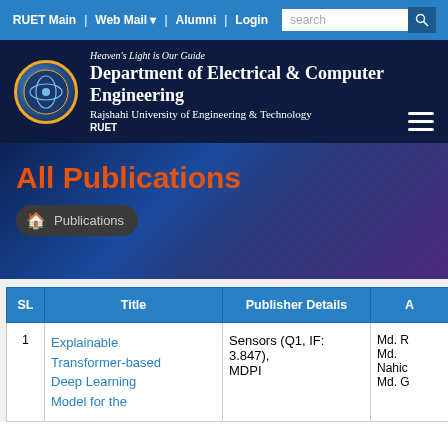RUET Main | Web Mail | Alumni | Login
[Figure (logo): RUET Department of Electrical & Computer Engineering logo with circular emblem]
Department of Electrical & Computer Engineering
Heaven's Light is Our Guide
Rajshahi University of Engineering & Technology
All Publications
Publications
| SL | Title | Publisher Details | A |
| --- | --- | --- | --- |
| 1 | Explainable Transformer-based Deep Learning Model for the | Sensors (Q1, IF: 3.847), MDPI | Md. R Md. Nahic Md. G |